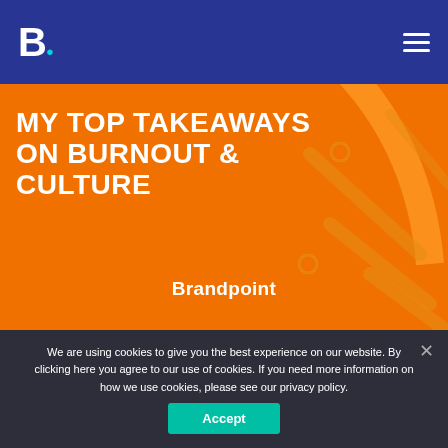B. [Brandpoint logo with hamburger menu]
[Figure (illustration): Orange banner with bold white text reading 'MY TOP TAKEAWAYS ON BURNOUT & CULTURE' with Brandpoint branding and decorative line art elements on the right side]
Digital Marketing
We are using cookies to give you the best experience on our website. By clicking here you agree to our use of cookies. If you need more information on how we use cookies, please see our privacy policy.
Accept